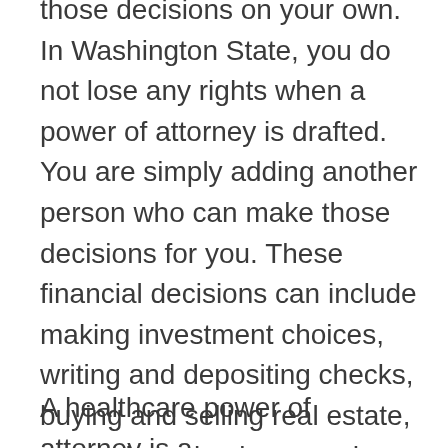those decisions on your own. In Washington State, you do not lose any rights when a power of attorney is drafted. You are simply adding another person who can make those decisions for you. These financial decisions can include making investment choices, writing and depositing checks, buying and selling real estate, managing a business and paying taxes. Power of attorney's should be assigned and in place before the principal can no longer do so, so that way everything is in order.
A healthcare power of attorney is a